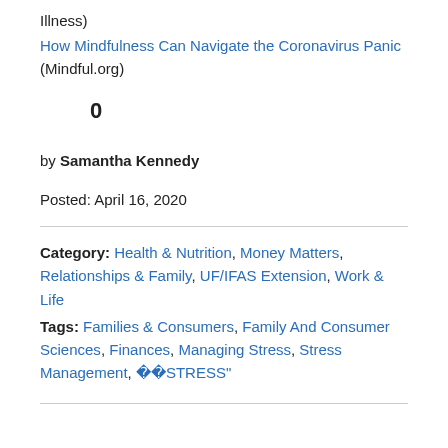Illness)
How Mindfulness Can Navigate the Coronavirus Panic (Mindful.org)
0
by Samantha Kennedy
Posted: April 16, 2020
Category: Health & Nutrition, Money Matters, Relationships & Family, UF/IFAS Extension, Work & Life
Tags: Families & Consumers, Family And Consumer Sciences, Finances, Managing Stress, Stress Management,  �STRESS"